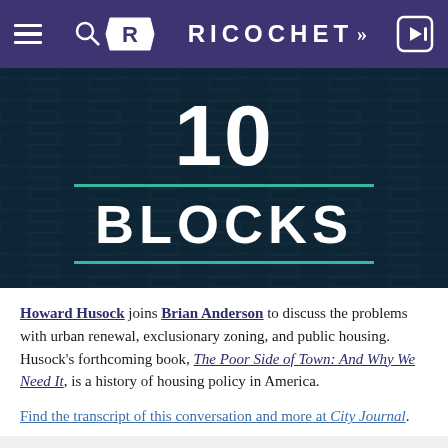RICOCHET
[Figure (illustration): Dark navy background with white bold text '10' on top, a teal horizontal line, bold white text 'BLOCKS' below, and another teal horizontal line beneath. This is the '10 Blocks' podcast logo/hero image.]
Howard Husock joins Brian Anderson to discuss the problems with urban renewal, exclusionary zoning, and public housing. Husock’s forthcoming book, The Poor Side of Town: And Why We Need It, is a history of housing policy in America.
Find the transcript of this conversation and more at City Journal.